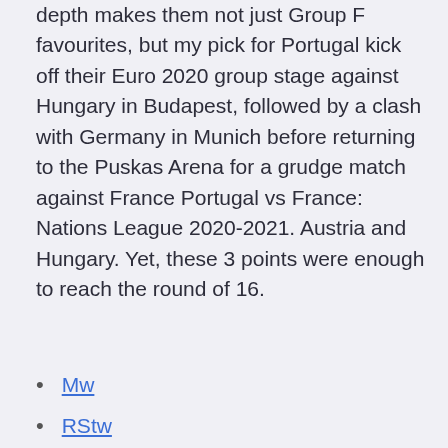depth makes them not just Group F favourites, but my pick for Portugal kick off their Euro 2020 group stage against Hungary in Budapest, followed by a clash with Germany in Munich before returning to the Puskas Arena for a grudge match against France Portugal vs France: Nations League 2020-2021. Austria and Hungary. Yet, these 3 points were enough to reach the round of 16.
Mw
RStw